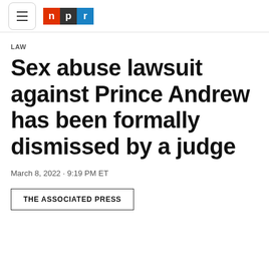NPR
LAW
Sex abuse lawsuit against Prince Andrew has been formally dismissed by a judge
March 8, 2022 · 9:19 PM ET
THE ASSOCIATED PRESS